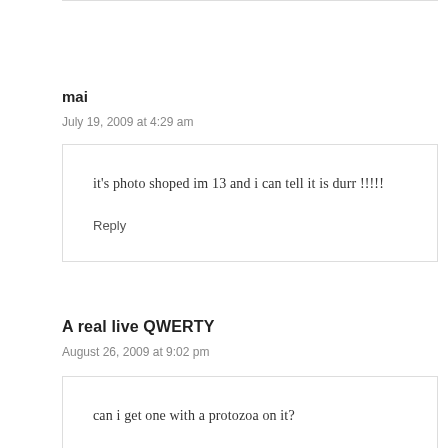mai
July 19, 2009 at 4:29 am
it's photo shoped im 13 and i can tell it is durr !!!!!
Reply
A real live QWERTY
August 26, 2009 at 9:02 pm
can i get one with a protozoa on it?